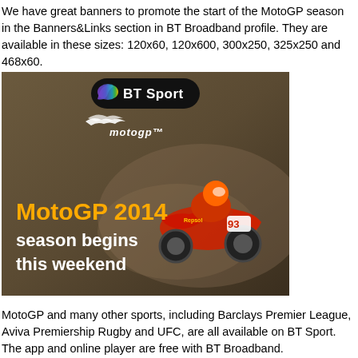We have great banners to promote the start of the MotoGP season in the Banners&Links section in BT Broadband profile. They are available in these sizes: 120x60, 120x600, 300x250, 325x250 and 468x60.
[Figure (illustration): BT Sport MotoGP 2014 promotional banner showing a MotoGP rider on a motorcycle with text 'MotoGP 2014 season begins this weekend' and the BT Sport logo with MotoGP logo.]
MotoGP and many other sports, including Barclays Premier League, Aviva Premiership Rugby and UFC, are all available on BT Sport. The app and online player are free with BT Broadband.